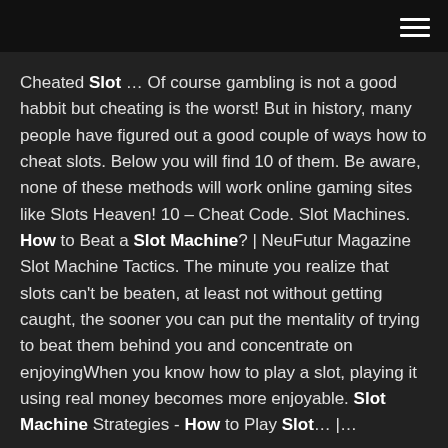Cheated Slot … Of course gambling is not a good habbit but cheating is the worst! But in history, many people have figured out a good couple of ways how to cheat slots. Below you will find 10 of them. Be aware, none of these methods will work online gaming sites like Slots Heaven! 10 – Cheat Code. Slot Machines. How to Beat a Slot Machine? | NeuFutur Magazine Slot Machine Tactics. The minute you realize that slots can't be beaten, at least not without getting caught, the sooner you can put the mentality of trying to beat them behind you and concentrate on enjoyingWhen you know how to play a slot, playing it using real money becomes more enjoyable. Slot Machine Strategies - How to Play Slot… |…